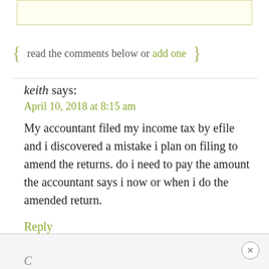read the comments below or add one
keith says:
April 10, 2018 at 8:15 am
My accountant filed my income tax by efile and i discovered a mistake i plan on filing to amend the returns. do i need to pay the amount the accountant says i now or when i do the amended return.
Reply